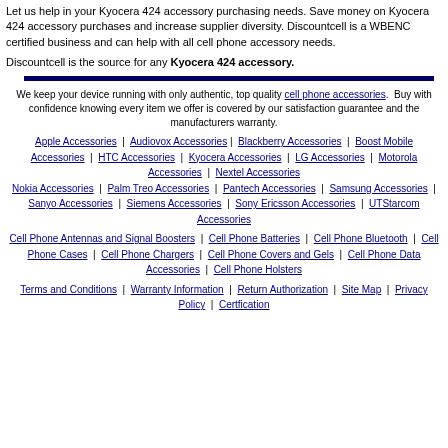Let us help in your Kyocera 424 accessory purchasing needs. Save money on Kyocera 424 accessory purchases and increase supplier diversity. Discountcell is a WBENC certified business and can help with all cell phone accessory needs.
Discountcell is the source for any Kyocera 424 accessory.
[Figure (other): Dark navy horizontal rule/divider line]
We keep your device running with only authentic, top quality cell phone accessories. Buy with confidence knowing every item we offer is covered by our satisfaction guarantee and the manufacturers warranty.
Apple Accessories | Audiovox Accessories | Blackberry Accessories | Boost Mobile Accessories | HTC Accessories | Kyocera Accessories | LG Accessories | Motorola Accessories | Nextel Accessories Nokia Accessories | Palm Treo Accessories | Pantech Accessories | Samsung Accessories | Sanyo Accessories | Siemens Accessories | Sony Ericsson Accessories | UTStarcom Accessories
Cell Phone Antennas and Signal Boosters | Cell Phone Batteries | Cell Phone Bluetooth | Cell Phone Cases | Cell Phone Chargers | Cell Phone Covers and Gels | Cell Phone Data Accessories | Cell Phone Holsters
Terms and Conditions | Warranty Information | Return Authorization | Site Map | Privacy Policy | Certfication